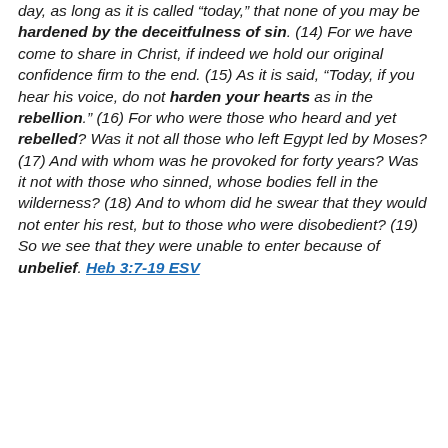day, as long as it is called "today," that none of you may be hardened by the deceitfulness of sin. (14) For we have come to share in Christ, if indeed we hold our original confidence firm to the end. (15) As it is said, “Today, if you hear his voice, do not harden your hearts as in the rebellion.” (16) For who were those who heard and yet rebelled? Was it not all those who left Egypt led by Moses? (17) And with whom was he provoked for forty years? Was it not with those who sinned, whose bodies fell in the wilderness? (18) And to whom did he swear that they would not enter his rest, but to those who were disobedient? (19) So we see that they were unable to enter because of unbelief. Heb 3:7-19 ESV